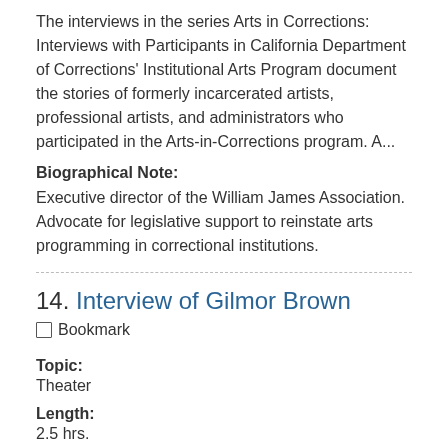The interviews in the series Arts in Corrections: Interviews with Participants in California Department of Corrections' Institutional Arts Program document the stories of formerly incarcerated artists, professional artists, and administrators who participated in the Arts-in-Corrections program. A...
Biographical Note:
Executive director of the William James Association. Advocate for legislative support to reinstate arts programming in correctional institutions.
14. Interview of Gilmor Brown
☐ Bookmark
Topic:
Theater
Length:
2.5 hrs.